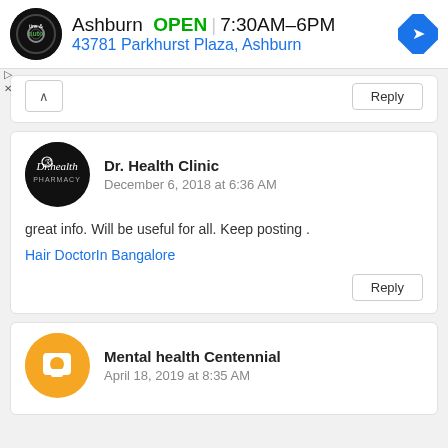[Figure (screenshot): Advertisement banner for a tire and auto service in Ashburn showing business hours (OPEN 7:30AM–6PM) and address (43781 Parkhurst Plaza, Ashburn) with logo and navigation icon.]
Reply (collapsed comment card with caret up)
Dr. Health Clinic
December 6, 2018 at 6:36 AM

great info. Will be useful for all. Keep posting .
Hair DoctorIn Bangalore
Reply
Mental health Centennial
April 18, 2019 at 8:35 AM